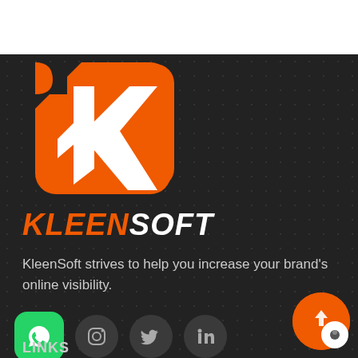[Figure (logo): KleenSoft logo: orange rounded square with stylized white K arrow shape, bold KLEEN in orange and SOFT in white italic text below]
KleenSoft strives to help you increase your brand's online visibility.
[Figure (infographic): Row of social media icons: WhatsApp (green rounded square), Instagram, Twitter, LinkedIn (dark circles). Orange chat bubble widget bottom right.]